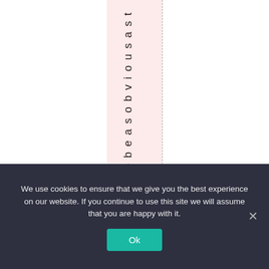m t o b e a s o b v i o u s a s t h
We use cookies to ensure that we give you the best experience on our website. If you continue to use this site we will assume that you are happy with it.